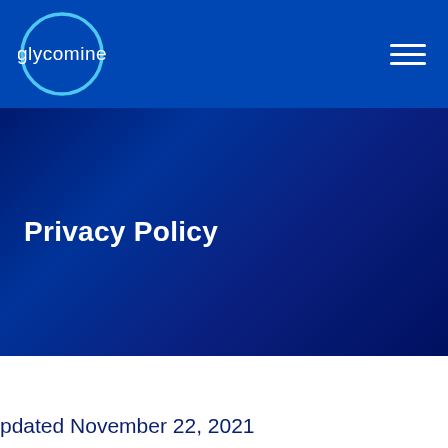[Figure (logo): Glycomine logo: white circle outline with 'glycomine' text inside in white, on blue navbar background]
Privacy Policy
pdated November 22, 2021